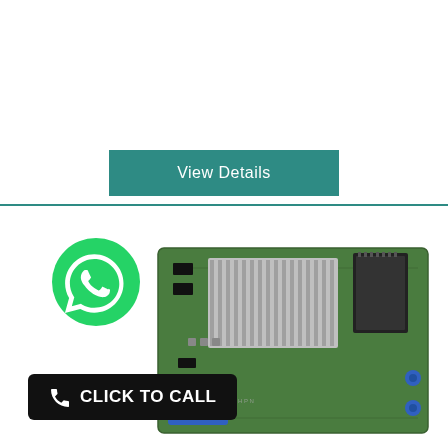View Details
[Figure (photo): A RAID/HBA controller card (server expansion card) with green PCB, aluminum heatsink fins, black memory modules, and blue connectors. WhatsApp icon and 'CLICK TO CALL' banner overlay in lower-left.]